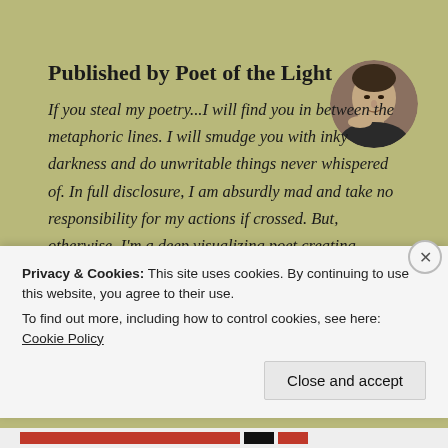Published by Poet of the Light
[Figure (photo): Circular cropped black-and-white portrait photo of a man with his hand near his chin, in a thoughtful pose.]
If you steal my poetry...I will find you in between the metaphoric lines. I will smudge you with inky darkness and do unwritable things never whispered of. In full disclosure, I am absurdly mad and take no responsibility for my actions if crossed. But, otherwise, I'm a deep visualizing poet creating particular facets, not only line by line but even the shades and innuendo between them; to the point that, I can get so comfortably caught up in my imaginations first imperfect draft that I sometimes just move in
Privacy & Cookies: This site uses cookies. By continuing to use this website, you agree to their use.
To find out more, including how to control cookies, see here: Cookie Policy
Close and accept